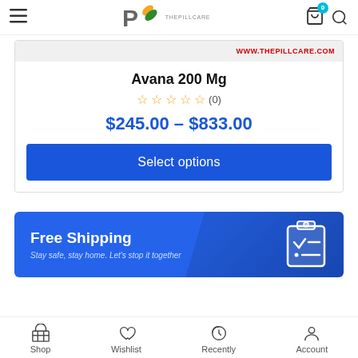ThePillCare — Navigation header with hamburger menu, logo, cart (0), and search
WWW.THEPILLCARE.COM
Avana 200 Mg
☆☆☆☆☆ (0)
$245.00 – $833.00
Select options
[Figure (infographic): Free Shipping banner with clipboard icon. Text: 'Free Shipping' and 'Stay safe, stay home. Let's stop it together']
Shop  Wishlist  Recently  Account